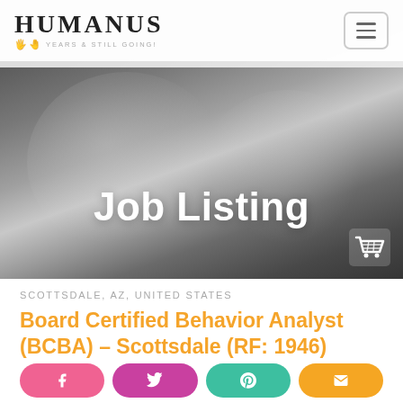HUMANUS YEARS & STILL GOING!
[Figure (photo): Grayscale photo of two laughing women/people with a large white 'Job Listing' text overlay in the center and a shopping cart icon in the bottom right corner]
SCOTTSDALE, AZ, UNITED STATES
Board Certified Behavior Analyst (BCBA) – Scottsdale (RF: 1946)
Facebook share button
Twitter share button
Pinterest share button
Email share button